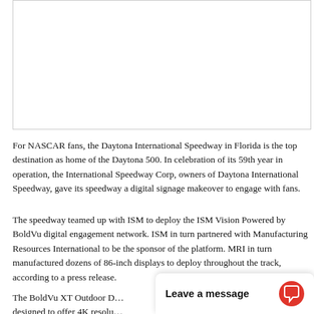[Figure (photo): White rectangle placeholder for an image at the top of the page]
For NASCAR fans, the Daytona International Speedway in Florida is the top destination as home of the Daytona 500. In celebration of its 59th year in operation, the International Speedway Corp, owners of Daytona International Speedway, gave its speedway a digital signage makeover to engage with fans.
The speedway teamed up with ISM to deploy the ISM Vision Powered by BoldVu digital engagement network. ISM in turn partnered with Manufacturing Resources International to be the sponsor of the platform. MRI in turn manufactured dozens of 86-inch displays to deploy throughout the track, according to a press release.
The BoldVu XT Outdoor D…e designed to offer 4K resolu… according to Chris Miller, …